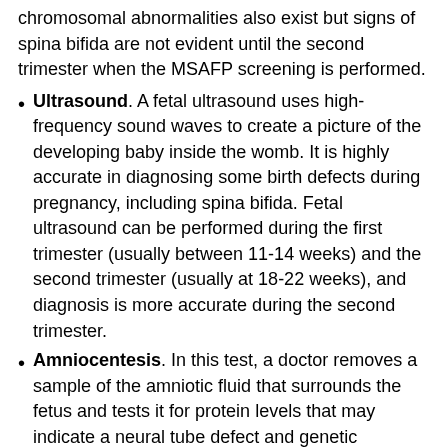chromosomal abnormalities also exist but signs of spina bifida are not evident until the second trimester when the MSAFP screening is performed.
Ultrasound. A fetal ultrasound uses high-frequency sound waves to create a picture of the developing baby inside the womb. It is highly accurate in diagnosing some birth defects during pregnancy, including spina bifida. Fetal ultrasound can be performed during the first trimester (usually between 11-14 weeks) and the second trimester (usually at 18-22 weeks), and diagnosis is more accurate during the second trimester.
Amniocentesis. In this test, a doctor removes a sample of the amniotic fluid that surrounds the fetus and tests it for protein levels that may indicate a neural tube defect and genetic